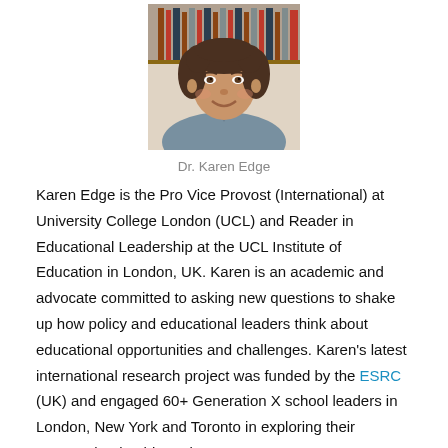[Figure (photo): Headshot photo of Dr. Karen Edge, a woman with curly dark hair, smiling, wearing a grey top, with bookshelves in background]
Dr. Karen Edge
Karen Edge is the Pro Vice Provost (International) at University College London (UCL) and Reader in Educational Leadership at the UCL Institute of Education in London, UK. Karen is an academic and advocate committed to asking new questions to shake up how policy and educational leaders think about educational opportunities and challenges. Karen’s latest international research project was funded by the ESRC (UK) and engaged 60+ Generation X school leaders in London, New York and Toronto in exploring their careers, leadership and